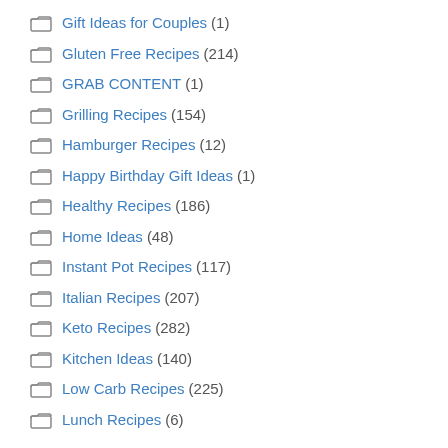Gift Ideas for Couples (1)
Gluten Free Recipes (214)
GRAB CONTENT (1)
Grilling Recipes (154)
Hamburger Recipes (12)
Happy Birthday Gift Ideas (1)
Healthy Recipes (186)
Home Ideas (48)
Instant Pot Recipes (117)
Italian Recipes (207)
Keto Recipes (282)
Kitchen Ideas (140)
Low Carb Recipes (225)
Lunch Recipes (6)